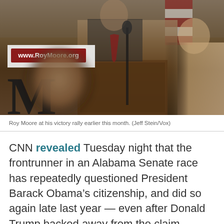[Figure (photo): Roy Moore at a podium with www.RoyMoore.org sign, speaking at a rally with a large letter M visible at bottom left and another person to the right.]
Roy Moore at his victory rally earlier this month. (Jeff Stein/Vox)
CNN revealed Tuesday night that the frontrunner in an Alabama Senate race has repeatedly questioned President Barack Obama’s citizenship, and did so again late last year — even after Donald Trump backed away from the claim.